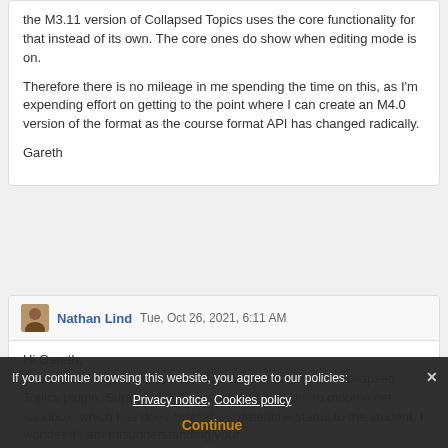the M3.11 version of Collapsed Topics uses the core functionality for that instead of its own. The core ones do show when editing mode is on.

Therefore there is no mileage in me spending the time on this, as I'm expending effort on getting to the point where I can create an M4.0 version of the format as the course format API has changed radically.

Gareth
Nathan Lind  Tue, Oct 26, 2021, 6:11 AM

Hi Gareth,
Thank you for your quick reply! And for developing the Collapsed Topics plugin. Super helpful! I just logged in to demo.moodle.net sandbox, which has does *not* show date/time/status to the student. I wonder if I am misunderstanding your
If you continue browsing this website, you agree to our policies: Privacy notice, Cookies policy
Continue